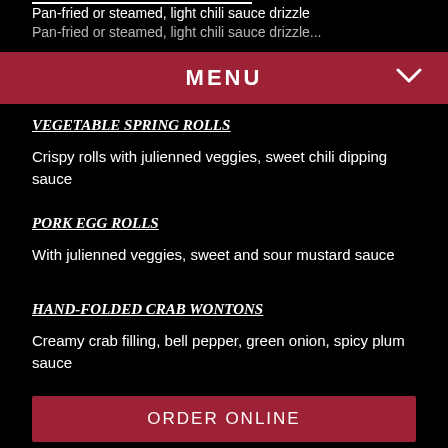Pan-fried or steamed, light chili sauce drizzle
Pan-fried or steamed, light chili sauce drizzle (partial previous item)
MENU
VEGETABLE SPRING ROLLS
Crispy rolls with julienned veggies, sweet chili dipping sauce
PORK EGG ROLLS
With julienned veggies, sweet and sour mustard sauce
HAND-FOLDED CRAB WONTONS
Creamy crab filling, bell pepper, green onion, spicy plum sauce
ORDER ONLINE